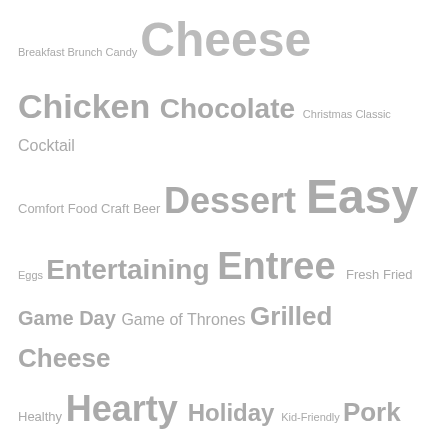[Figure (infographic): Tag cloud with words of varying sizes in gray, representing categories/tags like Breakfast, Brunch, Candy, Cheese, Chicken, Chocolate, Christmas, Classic, Cocktail, Comfort Food, Craft Beer, Dessert, Easy, Eggs, Entertaining, Entree, Fresh, Fried, Game Day, Game of Thrones, Grilled Cheese, Healthy, Hearty, Holiday, Kid-Friendly, Pork, Potatoes, Sandwich, Sausage, Simple, Snack, Summer, Theme, Themed, Theme Food, Theme Menu, Theme Party, Theme Recipe, Vegetarian, Winter]
CATEGORIES
ANIMATED
BEER RECIPES
COMFORT FOOD